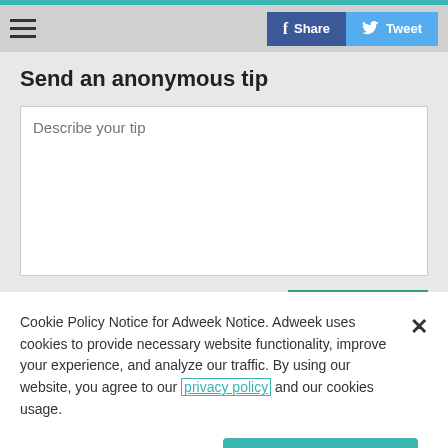≡  [Share] [Tweet]
Send an anonymous tip
Describe your tip
Send
Cookie Policy Notice for Adweek Notice. Adweek uses cookies to provide necessary website functionality, improve your experience, and analyze our traffic. By using our website, you agree to our privacy policy and our cookies usage.
Cookies Settings
Accept All Cookies